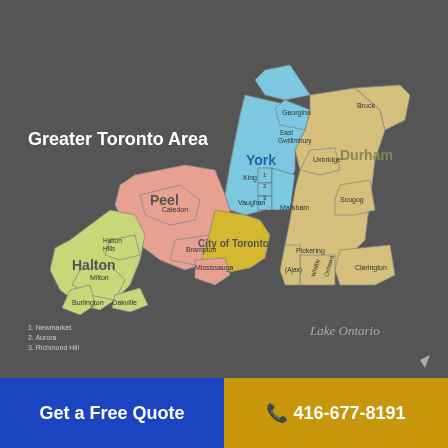[Figure (map): Map of the Greater Toronto Area (GTA) showing regions: Halton (green), Peel (salmon/pink), York (light blue), City of Toronto (yellow/gold), Durham (tan/beige). Sub-regions labeled include Georgina, Brock, East Gwillimbury, Uxbridge, Scugog, King, Vaughan, Newmarket, Aurora, Richmond Hill, Markham, Pickering, Ajax, Whitby, Oshawa, Clarington, Brampton, Caledon, Halton Hills, Milton, Burlington, Oakville, Mississauga. Lake Ontario shown at bottom.]
Get a Free Quote
416-677-8191